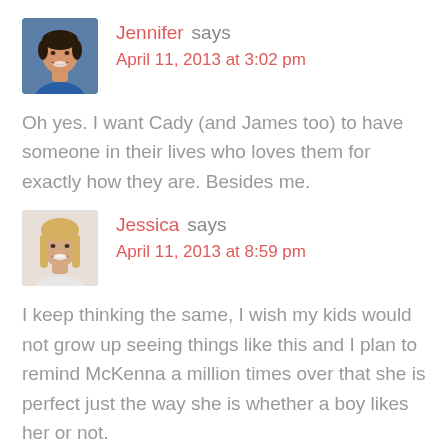[Figure (photo): Avatar photo of Jennifer — woman with short dark hair and blue top, smiling]
Jennifer says
April 11, 2013 at 3:02 pm
Oh yes. I want Cady (and James too) to have someone in their lives who loves them for exactly how they are. Besides me.
[Figure (photo): Avatar photo of Jessica — woman with blonde hair, smiling, wearing white top]
Jessica says
April 11, 2013 at 8:59 pm
I keep thinking the same, I wish my kids would not grow up seeing things like this and I plan to remind McKenna a million times over that she is perfect just the way she is whether a boy likes her or not.